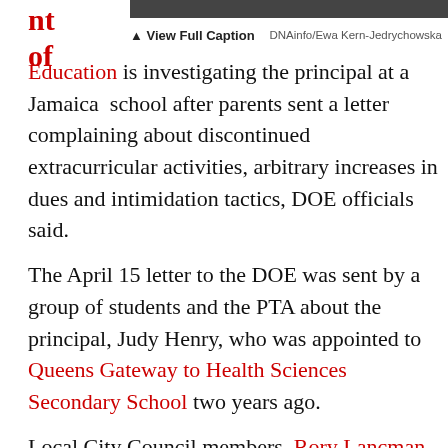[Figure (photo): Top portion of a photo with a dark gray/black header bar visible]
▲ View Full Caption   DNAinfo/Ewa Kern-Jedrychowska
nt of Education is investigating the principal at a Jamaica school after parents sent a letter complaining about discontinued extracurricular activities, arbitrary increases in dues and intimidation tactics, DOE officials said.

The April 15 letter to the DOE was sent by a group of students and the PTA about the principal, Judy Henry, who was appointed to Queens Gateway to Health Sciences Secondary School two years ago.

Local City Council members, Rory Lancman and Karen Koslowitz, also sent a joint letter on April 16 to school